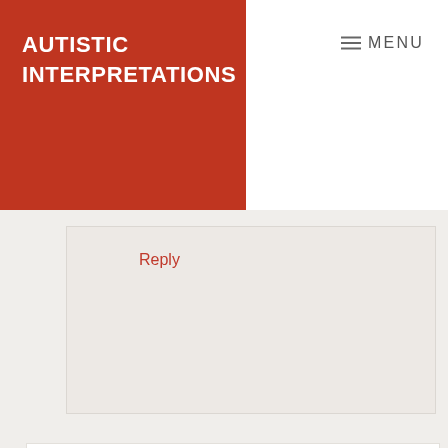AUTISTIC INTERPRETATIONS  ≡ MENU
Reply
Judy Wester
June 25, 2017 at 1:45 am

Just wow. Glad you could feel a little relief. Love you.

Reply